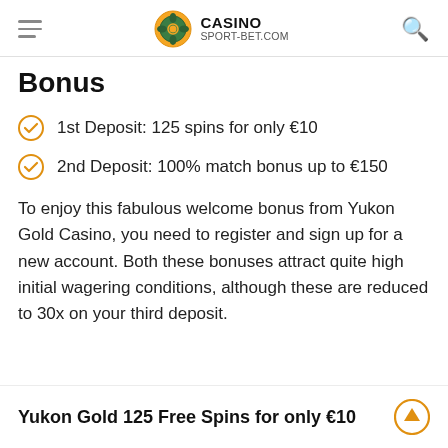CASINO SPORT-BET.COM
Bonus
1st Deposit: 125 spins for only €10
2nd Deposit: 100% match bonus up to €150
To enjoy this fabulous welcome bonus from Yukon Gold Casino, you need to register and sign up for a new account. Both these bonuses attract quite high initial wagering conditions, although these are reduced to 30x on your third deposit.
Yukon Gold 125 Free Spins for only €10